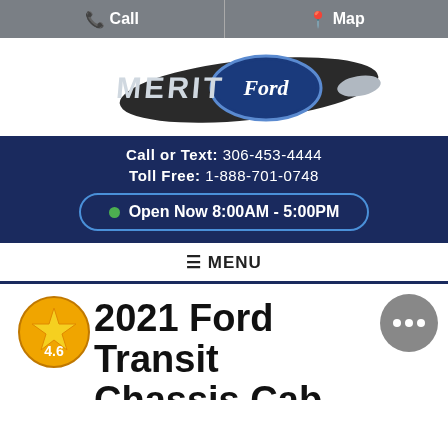Call   Map
[Figure (logo): Merit Ford dealership logo with Ford oval badge and swoosh graphic]
Call or Text: 306-453-4444
Toll Free: 1-888-701-0748
Open Now 8:00AM - 5:00PM
≡ MENU
2021 Ford Transit Chassis Cab